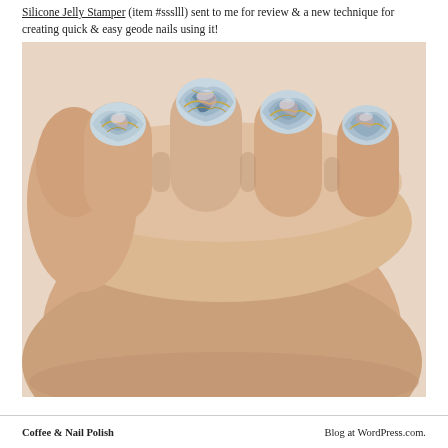Silicone Jelly Stamper (item #ssslll) sent to me for review & a new technique for creating quick & easy geode nails using it!
[Figure (photo): Close-up photo of a hand displaying four fingers with geode-style nail art in blue, gray, pink and gold marble patterns on rounded nails, against a light background.]
Coffee & Nail Polish    Blog at WordPress.com.